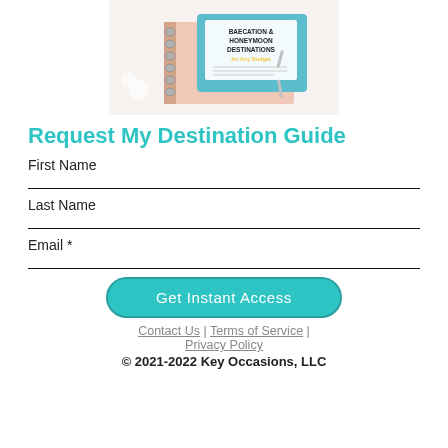[Figure (photo): Photo of a spiral-bound guidebook titled 'Baecation & Honeymoon Destinations for Any Budget' placed on a light pink surface with white flowers and paper clips nearby]
Request My Destination Guide
First Name
Last Name
Email *
Get Instant Access
Contact Us | Terms of Service | Privacy Policy
© 2021-2022 Key Occasions, LLC